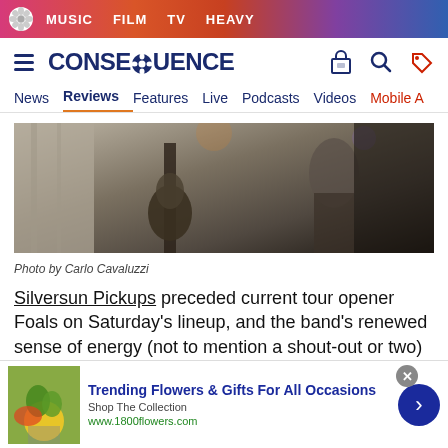MUSIC  FILM  TV  HEAVY
CONSEQUENCE  News  Reviews  Features  Live  Podcasts  Videos  Mobile A
[Figure (photo): Concert photo showing musicians on stage with guitars, indoor venue, atmospheric lighting. Photo by Carlo Cavaluzzi.]
Photo by Carlo Cavaluzzi
Silversun Pickups preceded current tour opener Foals on Saturday's lineup, and the band's renewed sense of energy (not to mention a shout-out or two) would lead you to believe the two acts are getting along
[Figure (other): Advertisement banner: Trending Flowers & Gifts For All Occasions. Shop The Collection. www.1800flowers.com]